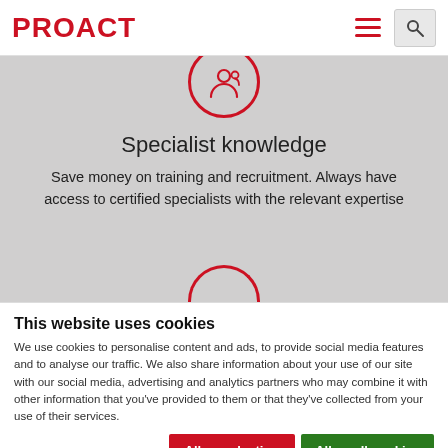PROACT
[Figure (illustration): Circular icon with stylized person/network symbol in red outline on gray background, partially visible at top]
Specialist knowledge
Save money on training and recruitment. Always have access to certified specialists with the relevant expertise
[Figure (illustration): Top arc of a circular icon partially visible at bottom of gray banner]
This website uses cookies
We use cookies to personalise content and ads, to provide social media features and to analyse our traffic. We also share information about your use of our site with our social media, advertising and analytics partners who may combine it with other information that you've provided to them or that they've collected from your use of their services.
Allow selection | Allow all cookies
Necessary | Preferences | Statistics | Marketing | Show details